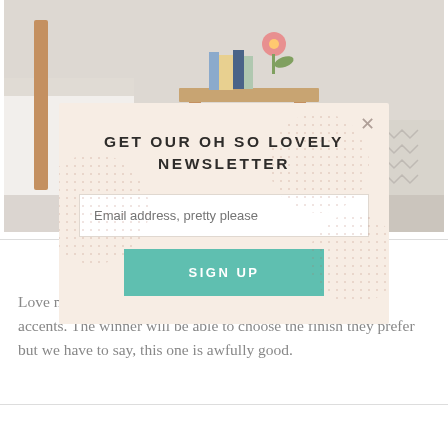[Figure (photo): Bedroom interior photo showing a wooden bedside shelf/table with books and a pink flower on top, white bedding visible on left, patterned cushion on right, dark wood floor]
[Figure (screenshot): Newsletter signup modal popup with peach/blush background, decorative dot circle patterns, close X button, title GET OUR OH SO LOVELY NEWSLETTER, email input field, and SIGN UP button in teal]
accents. The winner will be able to choose the finish they prefer but we have to say, this one is awfully good.